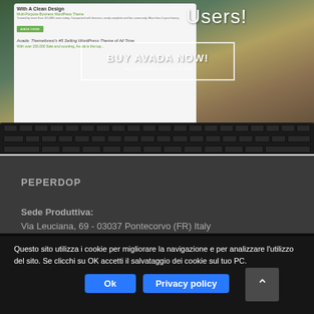[Figure (screenshot): Screenshot of a laptop showing the Avada WordPress theme website with a 'BUY AVADA NOW!' call-to-action button in a white border box, and the text 'Users!' visible in white on the right side. Below the laptop is a dark gray footer area.]
PEPERDOP
Sede Produttiva:
Via Leuciana, 69 - 03037 Pontecorvo (FR) Italy
Questo sito utilizza i cookie per migliorare la navigazione e per analizzare l'utilizzo del sito. Se clicchi su OK accetti il salvataggio dei cookie sul tuo PC.
Ok
Privacy policy